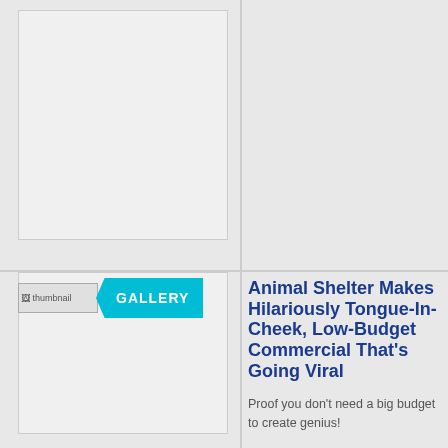[Figure (photo): Large image placeholder in top-left section]
[Figure (photo): Thumbnail image placeholder with GALLERY badge in bottom-left section]
Animal Shelter Makes Hilariously Tongue-In-Cheek, Low-Budget Commercial That's Going Viral
Proof you don't need a big budget to create genius!